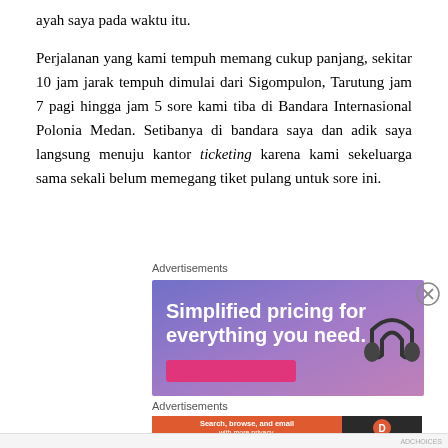ayah saya pada waktu itu.

Perjalanan yang kami tempuh memang cukup panjang, sekitar 10 jam jarak tempuh dimulai dari Sigompulon, Tarutung jam 7 pagi hingga jam 5 sore kami tiba di Bandara Internasional Polonia Medan. Setibanya di bandara saya dan adik saya langsung menuju kantor ticketing karena kami sekeluarga sama sekali belum memegang tiket pulang untuk sore ini.
Advertisements
[Figure (illustration): Advertisement banner: 'Simplified pricing for everything you need.' with a headphone graphic on purple/violet gradient background and a pink button at bottom left.]
Advertisements
[Figure (illustration): DuckDuckGo advertisement: 'Search, browse, and email with more privacy. All in One Free App' on orange background, DuckDuckGo logo on dark background on the right.]
ADCHOICES